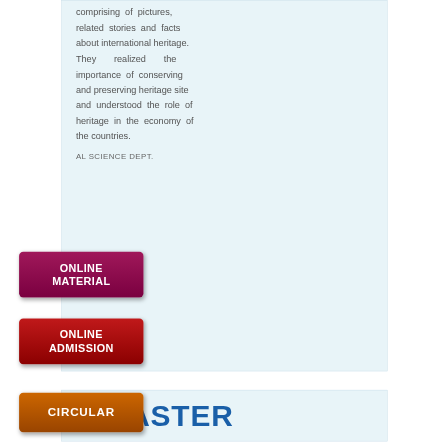comprising of pictures, related stories and facts about international heritage. They realized the importance of conserving and preserving heritage site and understood the role of heritage in the economy of the countries.
AL SCIENCE DEPT.
[Figure (other): Purple button labeled ONLINE MATERIAL]
[Figure (other): Dark red button labeled ONLINE ADMISSION]
[Figure (other): Brown/orange button labeled CIRCULAR]
DISASTER